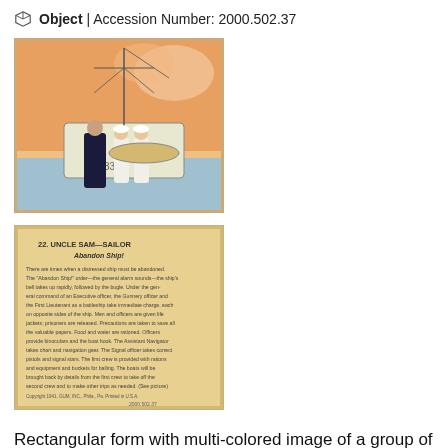Object | Accession Number: 2000.502.37
[Figure (photo): Front of a collectible card showing a multi-colored illustration of sailors in white uniforms practicing evacuating into a lifeboat, with a dark-coated officer overseeing. The boat has the number 330 visible. Pink/orange sky background.]
[Figure (photo): Reverse side of the collectible card, tan/cream colored background with printed text. Header reads '22. UNCLE SAM—SAILOR Abandon Ship!' followed by descriptive text about ship abandonment procedures. Bottom reads 'Copyright 1941, GUM, INC., Phila., Pa. Printed in U.S.A.' with accession number 2000.502.37 handwritten.]
Rectangular form with multi-colored image of a group of sailors practicing at evacuating into life boats. Reverse has